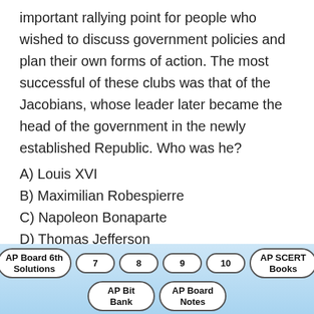important rallying point for people who wished to discuss government policies and plan their own forms of action. The most successful of these clubs was that of the Jacobians, whose leader later became the head of the government in the newly established Republic. Who was he?
A) Louis XVI
B) Maximilian Robespierre
C) Napoleon Bonaparte
D) Thomas Jefferson
Answer:
B) Maximilian Robespierre
AP Board 6th Solutions | 7 | 8 | 9 | 10 | AP SCERT Books | AP Bit Bank | AP Board Notes